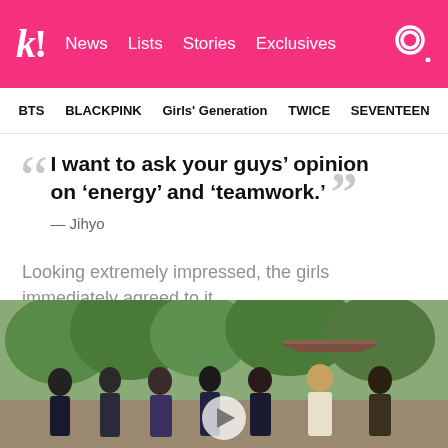k! News Lists Stories Exclusives
BTS BLACKPINK Girls' Generation TWICE SEVENTEEN
I want to ask your guys’ opinion on ‘energy’ and ‘teamwork.’ — Jihyo
Looking extremely impressed, the girls immediately agreed to it.
[Figure (photo): Group of girls sitting outdoors near traditional Korean architecture with trees in background]